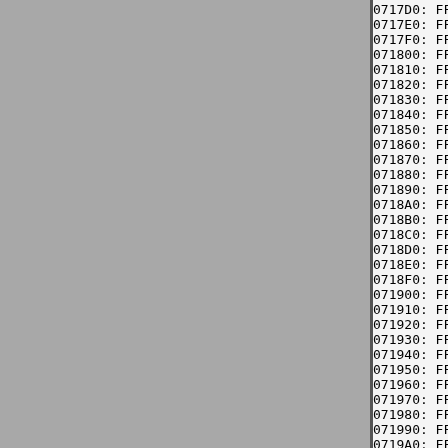[Figure (other): Gray panel on left side of page, approximately 370px wide]
0717D0: FF FF FF FF FF FF FF FF FF
0717E0: FF FF FF FF FF FF FF FF FF
0717F0: FF FF FF FF FF FF FF FF FF
071800: FF FF FF FF FF FF FF FF FF
071810: FF FF FF FF FF FF FF FF FF
071820: FF FF FF FF FF FF FF FF FF
071830: FF FF FF FF FF FF FF FF FF
071840: FF FF FF FF FF FF FF FF FF
071850: FF FF FF FF FF FF FF FF FF
071860: FF FF FF FF FF FF FF FF FF
071870: FF FF FF FF FF FF FF FF FF
071880: FF FF FF FF FF FF FF FF FF
071890: FF FF FF FF FF FF FF FF FF
0718A0: FF FF FF FF FF FF FF FF FF
0718B0: FF FF FF FF FF FF FF FF FF
0718C0: FF FF FF FF FF FF FF FF FF
0718D0: FF FF FF FF FF FF FF FF FF
0718E0: FF FF FF FF FF FF FF FF FF
0718F0: FF FF FF FF FF FF FF FF FF
071900: FF FF FF FF FF FF FF FF FF
071910: FF FF FF FF FF FF FF FF FF
071920: FF FF FF FF FF FF FF FF FF
071930: FF FF FF FF FF FF FF FF FF
071940: FF FF FF FF FF FF FF FF FF
071950: FF FF FF FF FF FF FF FF FF
071960: FF FF FF FF FF FF FF FF FF
071970: FF FF FF FF FF FF FF FF FF
071980: FF FF FF FF FF FF FF FF FF
071990: FF FF FF FF FF FF FF FF FF
0719A0: FF FF FF FF FF FF FF FF FF